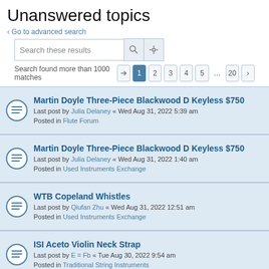Unanswered topics
< Go to advanced search
Search these results
Search found more than 1000 matches  1  2  3  4  5  ...  20  >
Martin Doyle Three-Piece Blackwood D Keyless $750
Last post by Julia Delaney « Wed Aug 31, 2022 5:39 am
Posted in Flute Forum
Martin Doyle Three-Piece Blackwood D Keyless $750
Last post by Julia Delaney « Wed Aug 31, 2022 1:40 am
Posted in Used Instruments Exchange
WTB Copeland Whistles
Last post by Qiufan Zhu « Wed Aug 31, 2022 12:51 am
Posted in Used Instruments Exchange
ISI Aceto Violin Neck Strap
Last post by E = Fb « Tue Aug 30, 2022 9:54 am
Posted in Traditional String Instruments
Regarding sending a Instrument to Ireland from the US
Last post by Ben Shaffer « Tue Aug 30, 2022 9:47 am
Posted in Flute Forum
Concert F NSP/SSP set
Last post by brianbolton « Mon Aug 22, 2022 3:21 am